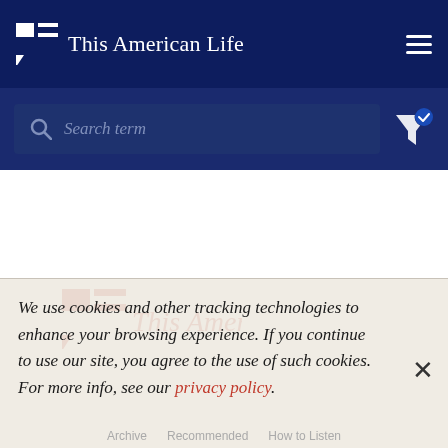This American Life
Search term
We use cookies and other tracking technologies to enhance your browsing experience. If you continue to use our site, you agree to the use of such cookies. For more info, see our privacy policy.
Archive   Recommended   How to Listen   About   Store   Contact